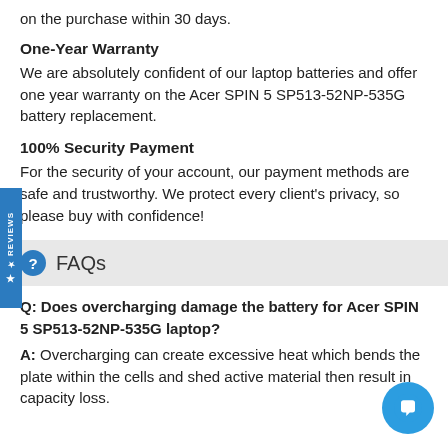on the purchase within 30 days.
One-Year Warranty
We are absolutely confident of our laptop batteries and offer one year warranty on the Acer SPIN 5 SP513-52NP-535G battery replacement.
100% Security Payment
For the security of your account, our payment methods are safe and trustworthy. We protect every client's privacy, so please buy with confidence!
FAQs
Q: Does overcharging damage the battery for Acer SPIN 5 SP513-52NP-535G laptop?
A: Overcharging can create excessive heat which bends the plate within the cells and shed active material then result in capacity loss.